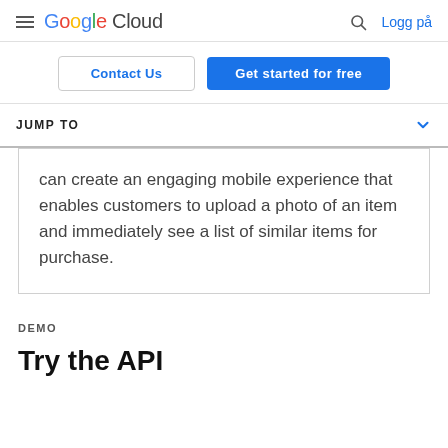Google Cloud  Logg på
Contact Us  Get started for free
JUMP TO
can create an engaging mobile experience that enables customers to upload a photo of an item and immediately see a list of similar items for purchase.
DEMO
Try the API